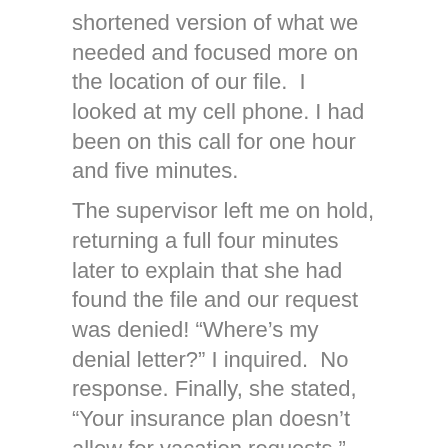shortened version of what we needed and focused more on the location of our file. I looked at my cell phone. I had been on this call for one hour and five minutes. The supervisor left me on hold, returning a full four minutes later to explain that she had found the file and our request was denied! “Where’s my denial letter?” I inquired. No response. Finally, she stated, “Your insurance plan doesn’t allow for vacation requests.” “Why, may I ask,” again in a calm voice, “didn’t the agent tell me this was the case after I spent an hour on the phone in June asking them how to handle a vacation request and if we were potentially qualified?” Why did he send me a packet of no less than 10 pages, explaining the process requiring me to include information they already had in their system, asking me to hand write in the forms on the few lines